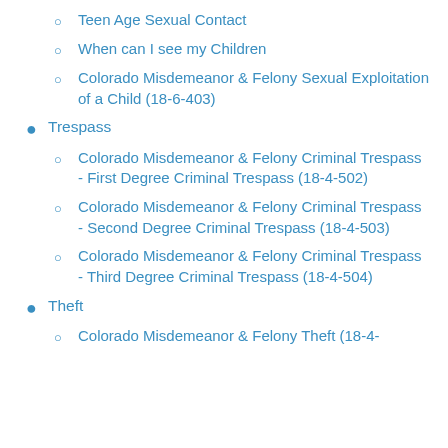Teen Age Sexual Contact
When can I see my Children
Colorado Misdemeanor & Felony Sexual Exploitation of a Child (18-6-403)
Trespass
Colorado Misdemeanor & Felony Criminal Trespass - First Degree Criminal Trespass (18-4-502)
Colorado Misdemeanor & Felony Criminal Trespass - Second Degree Criminal Trespass (18-4-503)
Colorado Misdemeanor & Felony Criminal Trespass - Third Degree Criminal Trespass (18-4-504)
Theft
Colorado Misdemeanor & Felony Theft (18-4-